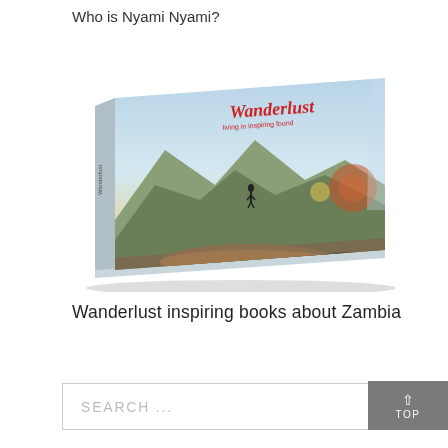Who is Nyami Nyami?
[Figure (photo): A book titled 'Wanderlust' with a mountain landscape and person on the cover, photographed at an angle on a white background.]
Wanderlust inspiring books about Zambia
SEARCH ...